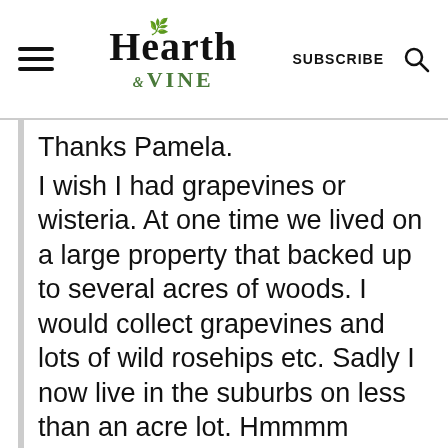Hearth & VINE — SUBSCRIBE
Thanks Pamela.
I wish I had grapevines or wisteria. At one time we lived on a large property that backed up to several acres of woods. I would collect grapevines and lots of wild rosehips etc. Sadly I now live in the suburbs on less than an acre lot. Hmmmm
I agree they would be perfect for this project. I should have